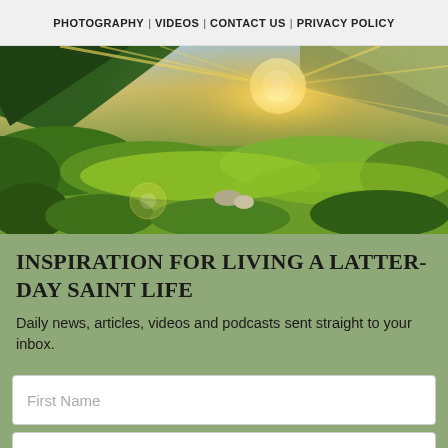PHOTOGRAPHY | VIDEOS | CONTACT US | PRIVACY POLICY
[Figure (photo): Wide panoramic landscape photo of sunlit green meadows and hills with sun rays bursting through mountains in the background]
INSPIRATION FOR LIVING A LATTER-DAY SAINT LIFE
Daily news, articles, videos and podcasts sent straight to your inbox.
First Name
Last Name